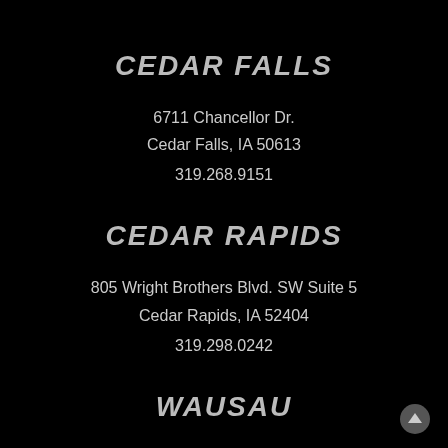CEDAR FALLS
6711 Chancellor Dr.
Cedar Falls, IA 50613
319.268.9151
CEDAR RAPIDS
805 Wright Brothers Blvd. SW Suite 5
Cedar Rapids, IA 52404
319.298.0242
WAUSAU